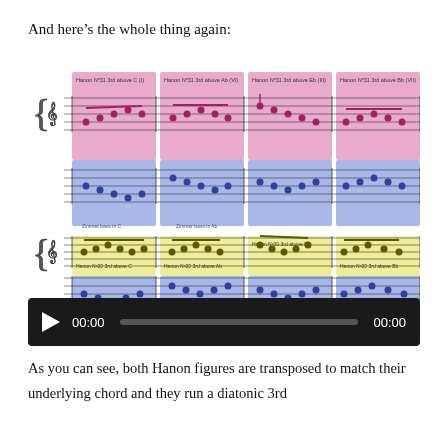And here’s the whole thing again:
[Figure (illustration): Sheet music showing Hanon exercises No.31 and No.20, each transposed to four keys (C, Ab, Eb, Bb). The top row shows Hanon Nº31 3rd above C (I), Ab (VI), Eb (III), Bb (VII) with pink/purple highlighted regions for treble clef and blue for bass clef. The bottom row shows Hanon Nº20 3rd above C, Ab, Eb, Bb with yellow highlighted treble clef regions and blue bass clef regions. Each section includes labels like 'Zimmer bass in C' and 'Zimmer bass in Ab'.]
[Figure (screenshot): Audio player with dark background showing play button, timestamp 00:00, progress bar, and end timestamp 00:00.]
As you can see, both Hanon figures are transposed to match their underlying chord and they run a diatonic 3rd